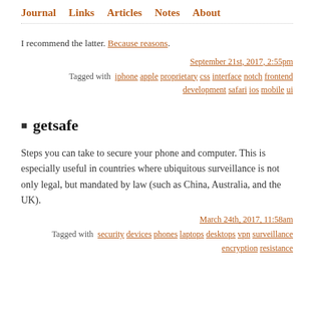Journal  Links  Articles  Notes  About
I recommend the latter. Because reasons.
September 21st, 2017, 2:55pm
Tagged with iphone apple proprietary css interface notch frontend development safari ios mobile ui
getsafe
Steps you can take to secure your phone and computer. This is especially useful in countries where ubiquitous surveillance is not only legal, but mandated by law (such as China, Australia, and the UK).
March 24th, 2017, 11:58am
Tagged with security devices phones laptops desktops vpn surveillance encryption resistance